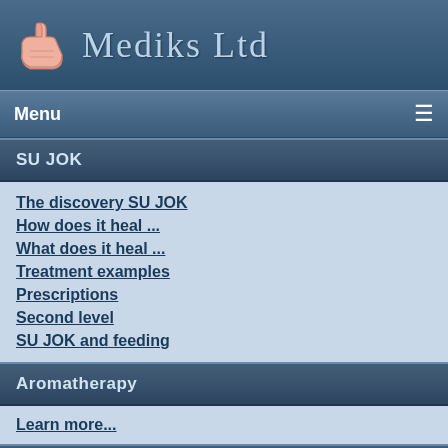Mediks Ltd
Menu
SU JOK
The discovery SU JOK
How does it heal ...
What does it heal ...
Treatment examples
Prescriptions
Second level
SU JOK and feeding
Aromatherapy
Learn more...
Radiesthesia
Learn more...